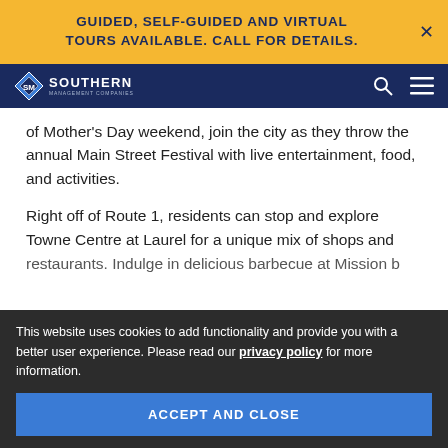GUIDED, SELF-GUIDED AND VIRTUAL TOURS AVAILABLE. CALL FOR DETAILS.
[Figure (logo): Southern Management Companies logo with diamond icon and text]
of Mother's Day weekend, join the city as they throw the annual Main Street Festival with live entertainment, food, and activities.
Right off of Route 1, residents can stop and explore Towne Centre at Laurel for a unique mix of shops and restaurants. Indulge in delicious barbecue at Mission bbq and Black Axe Throwing Company. Order a glass of Chardonnay and Shari Laree. Those looking for a history lesson can venture to Montpelier Mansion Historic Site He as you step foot into the Georgian style home that was
This website uses cookies to add functionality and provide you with a better user experience. Please read our privacy policy for more information.